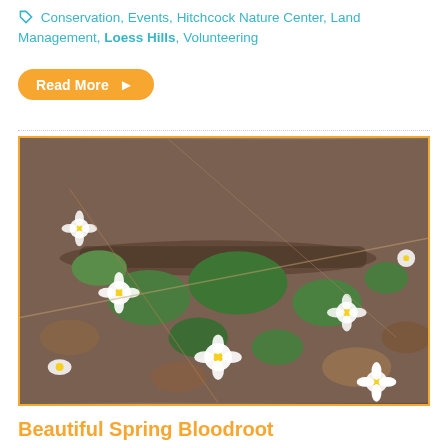Conservation, Events, Hitchcock Nature Center, Land Management, Loess Hills, Volunteering
Read More >
[Figure (photo): Close-up photograph of Bloodroot (Sanguinaria canadensis) spring wildflowers with white petals and yellow centers growing among green leaves and fallen branches on a forest floor with dried leaves.]
Beautiful Spring Bloodroot